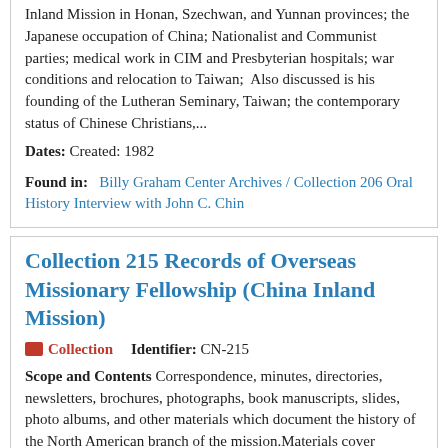Inland Mission in Honan, Szechwan, and Yunnan provinces; the Japanese occupation of China; Nationalist and Communist parties; medical work in CIM and Presbyterian hospitals; war conditions and relocation to Taiwan;  Also discussed is his founding of the Lutheran Seminary, Taiwan; the contemporary status of Chinese Christians,...
Dates: Created: 1982
Found in: Billy Graham Center Archives / Collection 206 Oral History Interview with John C. Chin
Collection 215 Records of Overseas Missionary Fellowship (China Inland Mission)
Collection   Identifier: CN-215
Scope and Contents Correspondence, minutes, directories, newsletters, brochures, photographs, book manuscripts, slides, photo albums, and other materials which document the history of the North American branch of the mission.Materials cover